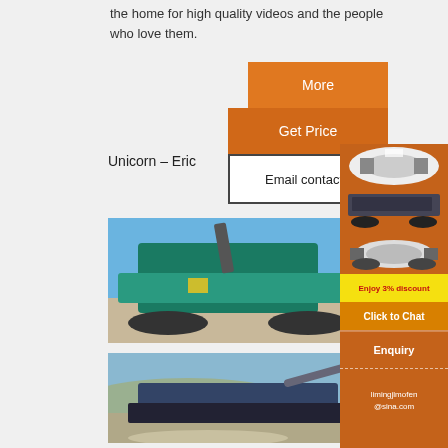the home for high quality videos and the people who love them.
[Figure (illustration): Orange 'More' button]
[Figure (illustration): Orange 'Get Price' button]
Unicorn – Eric
[Figure (illustration): White bordered 'Email contact' button]
[Figure (photo): Photograph of a large mobile crusher/screening machine on a construction site with blue sky background]
[Figure (photo): Photograph of a mobile screening unit at a quarry site with crushed stone]
[Figure (illustration): Right panel showing machinery images, 'Enjoy 3% discount', 'Click to Chat', 'Enquiry' buttons and limingjlmofen@sina.com contact info]